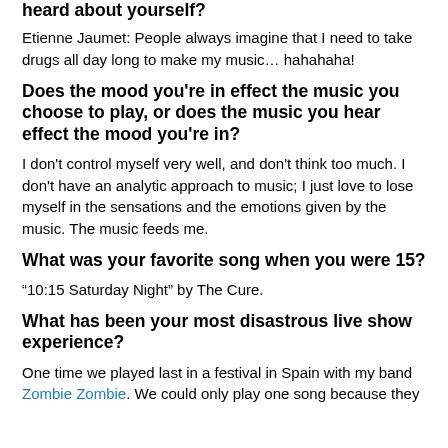heard about yourself?
Etienne Jaumet: People always imagine that I need to take drugs all day long to make my music… hahahaha!
Does the mood you're in effect the music you choose to play, or does the music you hear effect the mood you're in?
I don't control myself very well, and don't think too much. I don't have an analytic approach to music; I just love to lose myself in the sensations and the emotions given by the music. The music feeds me.
What was your favorite song when you were 15?
“10:15 Saturday Night” by The Cure.
What has been your most disastrous live show experience?
One time we played last in a festival in Spain with my band Zombie Zombie. We could only play one song because they